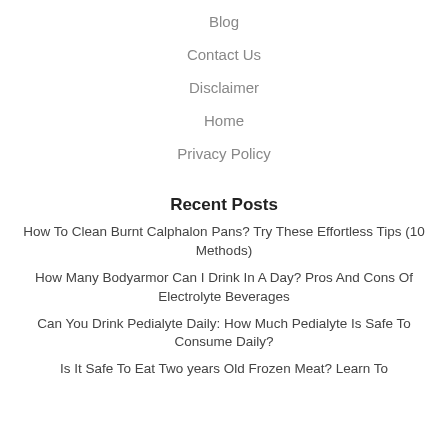Blog
Contact Us
Disclaimer
Home
Privacy Policy
Recent Posts
How To Clean Burnt Calphalon Pans? Try These Effortless Tips (10 Methods)
How Many Bodyarmor Can I Drink In A Day? Pros And Cons Of Electrolyte Beverages
Can You Drink Pedialyte Daily: How Much Pedialyte Is Safe To Consume Daily?
Is It Safe To Eat Two years Old Frozen Meat? Learn To